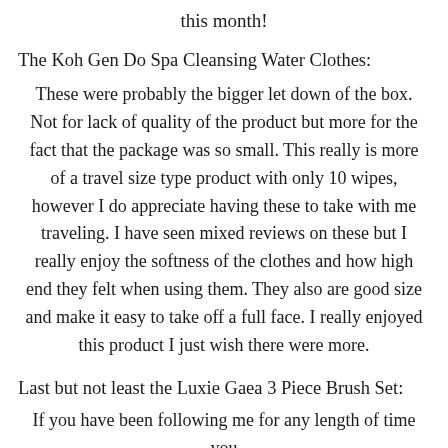this month!
The Koh Gen Do Spa Cleansing Water Clothes:
These were probably the bigger let down of the box. Not for lack of quality of the product but more for the fact that the package was so small. This really is more of a travel size type product with only 10 wipes, however I do appreciate having these to take with me traveling. I have seen mixed reviews on these but I really enjoy the softness of the clothes and how high end they felt when using them. They also are good size and make it easy to take off a full face. I really enjoyed this product I just wish there were more.
Last but not least the Luxie Gaea 3 Piece Brush Set:
If you have been following me for any length of time you